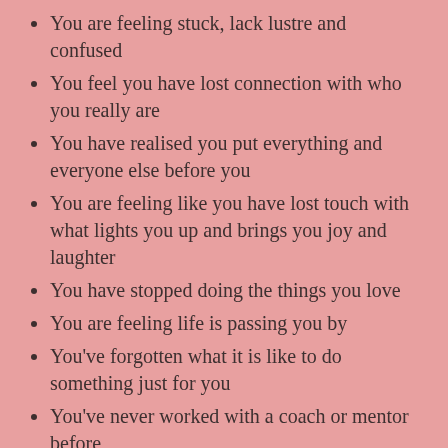You are feeling stuck, lack lustre and confused
You feel you have lost connection with who you really are
You have realised you put everything and everyone else before you
You are feeling like you have lost touch with what lights you up and brings you joy and laughter
You have stopped doing the things you love
You are feeling life is passing you by
You've forgotten what it is like to do something just for you
You've never worked with a coach or mentor before
You feel like you are in a rut and need a kickstart
You are ready to start choosing you!
You have reached the point where you desire to